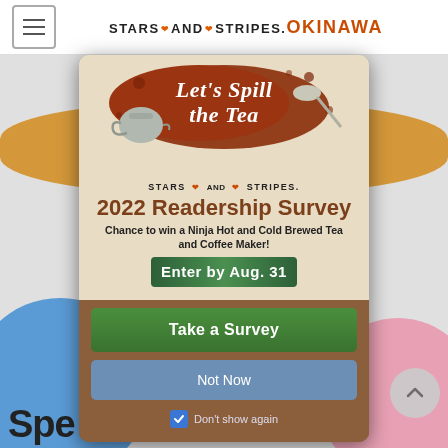Stars and Stripes Okinawa
[Figure (screenshot): Stars and Stripes Okinawa website screenshot showing a modal popup for the 2022 Readership Survey with 'Let's Spill the Tea' graphic, offer to win a Ninja Hot and Cold Brewed Tea and Coffee Maker, Enter by Aug. 31 deadline, 'Take a Survey' green button, 'Not Now' blue button, and 'Don't show again' checkbox. Background shows partial page with orange and blue elements and partial text 'Spe'.]